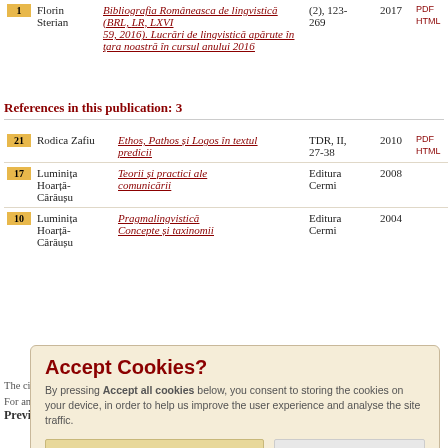| # | Author | Title | Journal | Year | Format |
| --- | --- | --- | --- | --- | --- |
| 1 | Florin Sterian | Bibliografia Româneasca de lingvistică (BRL, LR, LXVI, 59, 2016). Lucrări de lingvistică apărute în ţara noastră în cursul anului 2016 | (2), 123-269 | 2017 | PDF HTML |
References in this publication: 3
| # | Author | Title | Journal | Year | Format |
| --- | --- | --- | --- | --- | --- |
| 21 | Rodica Zafiu | Ethos, Pathos și Logos în textul predicii | TDR, II, 27-38 | 2010 | PDF HTML |
| 17 | Luminița Hoarță-Cărăușu | Teorii și practici ale comunicării | Editura Cermi | 2008 |  |
| 10 | Luminița Hoarță-Cărăușu | Pragmalingvistică. Concepte și taxinomii | Editura Cermi | 2004 |  |
The citations represented here is based on indexed publications only, and may therefore be incomplete. For any and all inquiries related to the database, please contact us at contact@diacronia.ro.
Preview:
Accept Cookies? By pressing Accept all cookies below, you consent to storing the cookies on your device, in order to help us improve the user experience and analyse the site traffic.